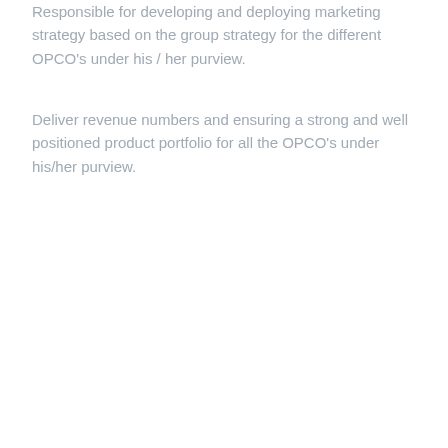Responsible for developing and deploying marketing strategy based on the group strategy for the different OPCO's under his / her purview.
Deliver revenue numbers and ensuring a strong and well positioned product portfolio for all the OPCO's under his/her purview.